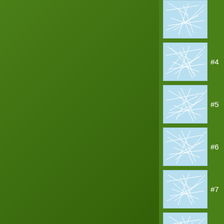[Figure (illustration): Green gradient background filling the left portion of the page]
[Figure (illustration): Thumbnail #4: light blue square with white network/web pattern overlay]
[Figure (illustration): Thumbnail #5: light blue square with white network/web pattern overlay]
[Figure (illustration): Thumbnail #6: light blue square with white network/web pattern overlay]
[Figure (illustration): Thumbnail #7: light blue square with white network/web pattern overlay]
[Figure (illustration): Thumbnail #8: light blue square with white network/web pattern overlay]
[Figure (illustration): Thumbnail #9 (partially visible): light blue square with white network/web pattern overlay]